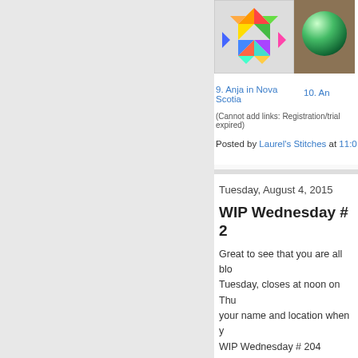[Figure (photo): Rainbow geometric quilt thumbnail image]
[Figure (photo): Shiny green decorative ball thumbnail image]
9. Anja in Nova Scotia
10. An...
(Cannot add links: Registration/trial expired)
Posted by Laurel's Stitches at 11:0...
Tuesday, August 4, 2015
WIP Wednesday # 2...
Great to see that you are all blo... Tuesday, closes at noon on Thu... your name and location when y... WIP Wednesday # 204 @TN&...
[Figure (photo): Colorful flower craft/quilt thumbnail]
[Figure (photo): Green nature/garden thumbnail]